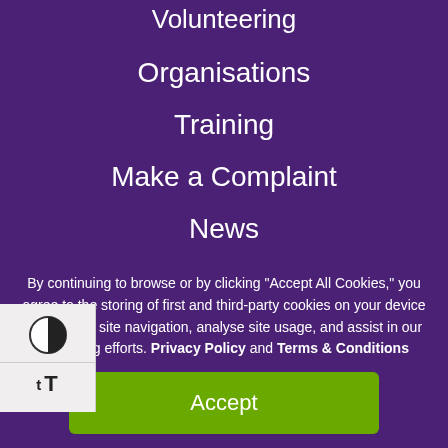Volunteering
Organisations
Training
Make a Complaint
News
About
Contact
Accessibility
[Figure (other): Accessibility widget with contrast toggle and text size icons]
By continuing to browse or by clicking "Accept All Cookies," you agree to the storing of first and third-party cookies on your device to enhance site navigation, analyse site usage, and assist in our marketing efforts. Privacy Policy and Terms & Conditions
Accept